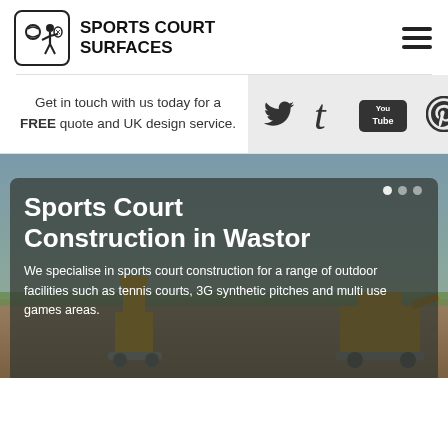[Figure (logo): Sports Court Surfaces logo with stick figure playing tennis inside a rounded square border, next to bold text 'SPORTS COURT SURFACES']
Get in touch with us today for a FREE quote and UK design service.
[Figure (infographic): Social media icons: Twitter bird, Tumblr 't', YouTube logo, Pinterest logo on a light grey background]
[Figure (photo): Sports court construction site in Wastor showing construction machinery (cherry picker and digger) on a prepared ground area with green grass and cloudy sky. Dark overlay panel with title and description text.]
Sports Court Construction in Wastor
We specialise in sports court construction for a range of outdoor facilities such as tennis courts, 3G synthetic pitches and multi use games areas.